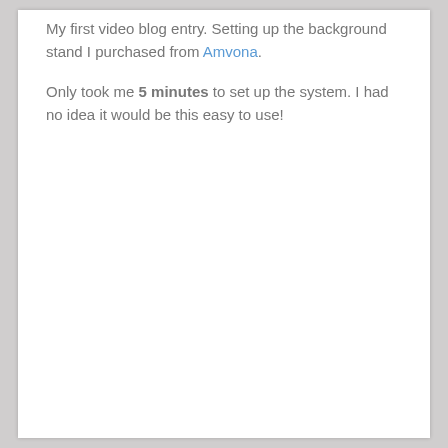My first video blog entry. Setting up the background stand I purchased from Amvona.
Only took me 5 minutes to set up the system. I had no idea it would be this easy to use!